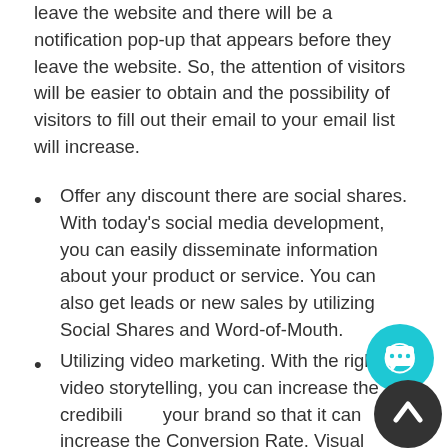leave the website and there will be a notification pop-up that appears before they leave the website. So, the attention of visitors will be easier to obtain and the possibility of visitors to fill out their email to your email list will increase.
Offer any discount there are social shares. With today's social media development, you can easily disseminate information about your product or service. You can also get leads or new sales by utilizing Social Shares and Word-of-Mouth.
Utilizing video marketing. With the right video storytelling, you can increase the credibility of your brand so that it can increase the Conversion Rate. Visual content in the form of videos can attract more attention and views on